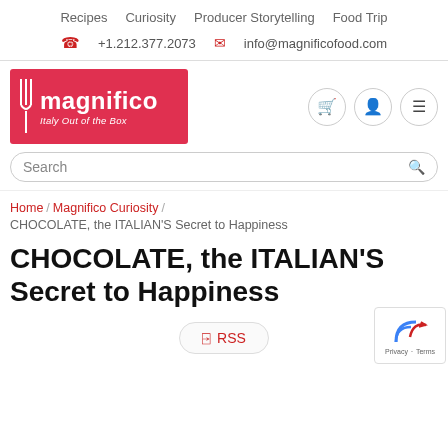Recipes  Curiosity  Producer Storytelling  Food Trip
+1.212.377.2073   info@magnificofood.com
[Figure (logo): Magnifico logo - red box with fork graphic, white text 'magnifico' and tagline 'Italy Out of the Box']
Search
Home / Magnifico Curiosity / CHOCOLATE, the ITALIAN'S Secret to Happiness
CHOCOLATE, the ITALIAN'S Secret to Happiness
RSS